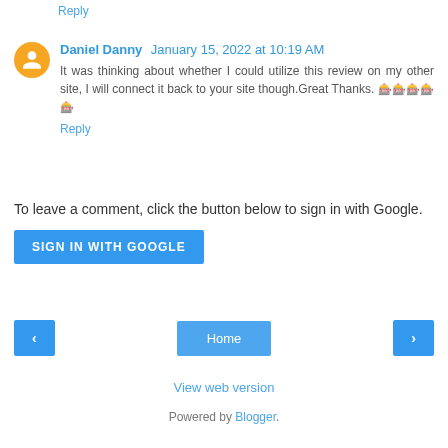Reply
Daniel Danny  January 15, 2022 at 10:19 AM
It was thinking about whether I could utilize this review on my other site, I will connect it back to your site though.Great Thanks. 🎰🎰🎰🎰🎰
Reply
To leave a comment, click the button below to sign in with Google.
[Figure (other): SIGN IN WITH GOOGLE button]
[Figure (other): Navigation buttons: back arrow, Home, forward arrow]
View web version
Powered by Blogger.